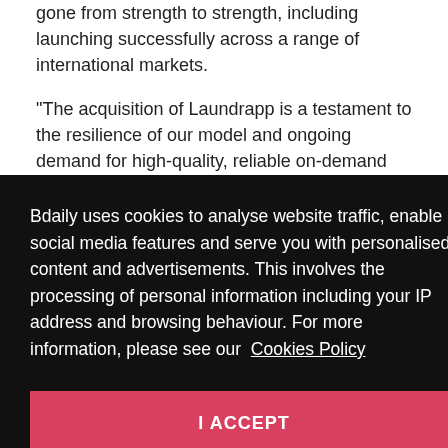gone from strength to strength, including launching successfully across a range of international markets.
“The acquisition of Laundrapp is a testament to the resilience of our model and ongoing demand for high-quality, reliable on-demand laundry services. We’re
Bdaily uses cookies to analyse website traffic, enable social media features and serve you with personalised content and advertisements. This involves the processing of personal information including your IP address and browsing behaviour. For more information, please see our Cookies Policy
I ACCEPT
#London  #Technology  #Innovation  #Technology